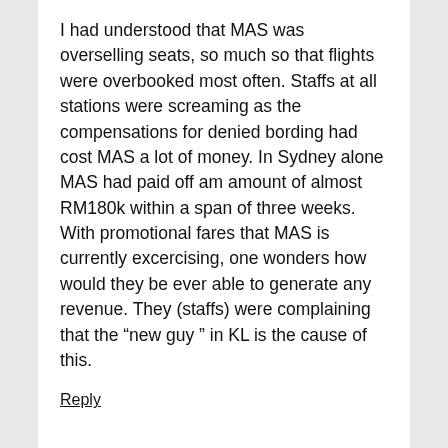I had understood that MAS was overselling seats, so much so that flights were overbooked most often. Staffs at all stations were screaming as the compensations for denied bording had cost MAS a lot of money. In Sydney alone MAS had paid off am amount of almost RM180k within a span of three weeks. With promotional fares that MAS is currently excercising, one wonders how would they be ever able to generate any revenue. They (staffs) were complaining that the “new guy ” in KL is the cause of this.
Reply